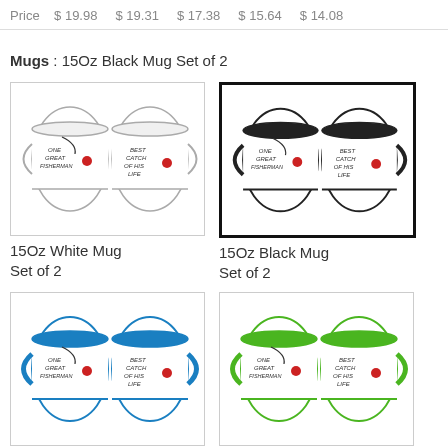Price  $ 19.98  $ 19.31  $ 17.38  $ 15.64  $ 14.08
Mugs : 15Oz Black Mug Set of 2
[Figure (photo): Two white mugs with fishing text design - 15Oz White Mug Set of 2]
15Oz White Mug Set of 2
[Figure (photo): Two black-accented mugs with fishing text design - 15Oz Black Mug Set of 2 (selected/highlighted)]
15Oz Black Mug Set of 2
[Figure (photo): Two blue-accented mugs with fishing text design - 15Oz Blue Mug Set of 2]
15Oz Blue Mug Set of 2
[Figure (photo): Two green-accented mugs with fishing text design - 15Oz Green Mug Set of 2]
15Oz Green Mug Set of 2